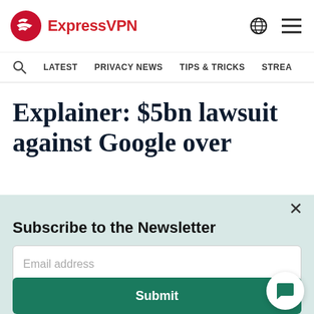ExpressVPN
LATEST  PRIVACY NEWS  TIPS & TRICKS  STREA...
Explainer: $5bn lawsuit against Google over
Subscribe to the Newsletter
Email address
Submit